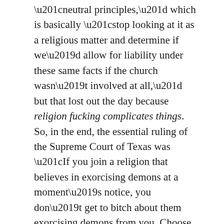“neutral principles,” which is basically “stop looking at it as a religious matter and determine if we’d allow for liability under these same facts if the church wasn’t involved at all,” but that lost out the day because religion fucking complicates things. So, in the end, the essential ruling of the Supreme Court of Texas was “If you join a religion that believes in exorcising demons at a moment’s notice, you don’t get to bitch about them exorcising demons from you. Choose another faith.”
Which…sucks for Laura Schubert.
There is a Silver Lining.